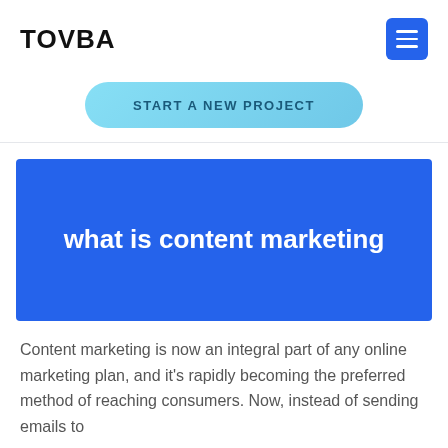TOVBA
START A NEW PROJECT
what is content marketing
Content marketing is now an integral part of any online marketing plan, and it's rapidly becoming the preferred method of reaching consumers. Now, instead of sending emails to